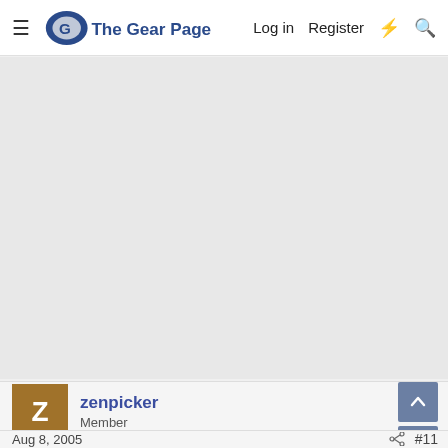The Gear Page  Log in  Register
[Figure (other): Large gray advertisement/banner area]
zenpicker
Member
Aug 8, 2005
#11